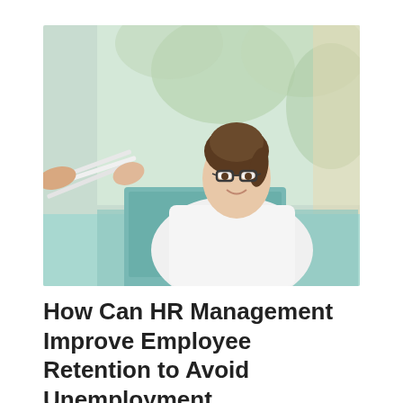[Figure (photo): A professional woman with glasses and dark hair in a ponytail, wearing a white blouse, smiling and holding papers, seated at a desk with a laptop. Bright, airy office environment with greenery visible through a window in the background.]
How Can HR Management Improve Employee Retention to Avoid Unemployment